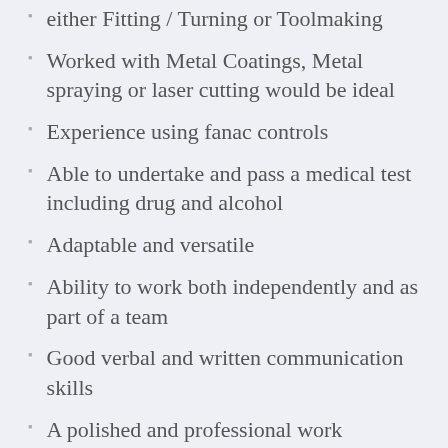either Fitting / Turning or Toolmaking
Worked with Metal Coatings, Metal spraying or laser cutting would be ideal
Experience using fanac controls
Able to undertake and pass a medical test including drug and alcohol
Adaptable and versatile
Ability to work both independently and as part of a team
Good verbal and written communication skills
A polished and professional work